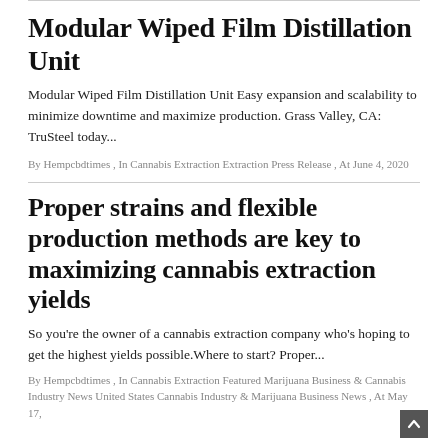Modular Wiped Film Distillation Unit
Modular Wiped Film Distillation Unit Easy expansion and scalability to minimize downtime and maximize production. Grass Valley, CA: TruSteel today...
By Hempcbdtimes , In Cannabis Extraction Extraction Press Release , At June 4, 2020
Proper strains and flexible production methods are key to maximizing cannabis extraction yields
So you're the owner of a cannabis extraction company who's hoping to get the highest yields possible.Where to start? Proper...
By Hempcbdtimes , In Cannabis Extraction Featured Marijuana Business & Cannabis Industry News United States Cannabis Industry & Marijuana Business News , At May 17,